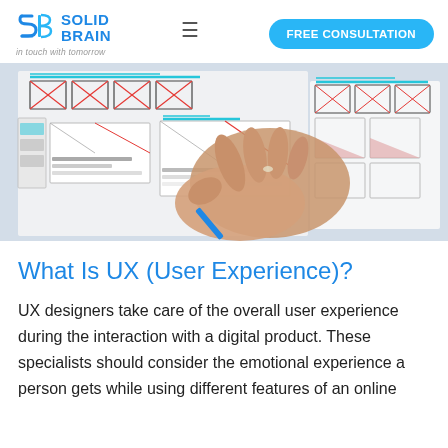[Figure (logo): Solid Brain logo with stylized S icon and tagline 'in touch with tomorrow']
FREE CONSULTATION
[Figure (photo): A person's hand holding a blue pen working on UX wireframe sketches on paper, showing various UI layout mockups with boxes, X placeholders, and grid elements in red, blue, and black lines.]
What Is UX (User Experience)?
UX designers take care of the overall user experience during the interaction with a digital product. These specialists should consider the emotional experience a person gets while using different features of an online